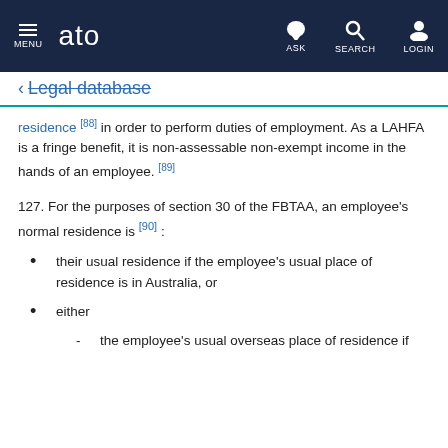MENU | ato | ASK | SEARCH | LOGIN
← Legal database
residence [88] in order to perform duties of employment. As a LAHFA is a fringe benefit, it is non-assessable non-exempt income in the hands of an employee. [89]
127. For the purposes of section 30 of the FBTAA, an employee's normal residence is [90] :
their usual residence if the employee's usual place of residence is in Australia, or
either
- the employee's usual overseas place of residence if